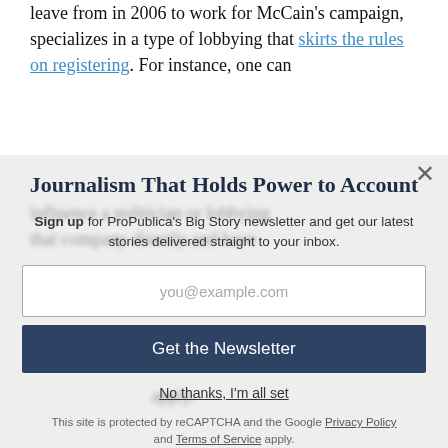leave from in 2006 to work for McCain's campaign, specializes in a type of lobbying that skirts the rules on registering. For instance, one can
Journalism That Holds Power to Account
Sign up for ProPublica's Big Story newsletter and get our latest stories delivered straight to your inbox.
you@example.com
Get the Newsletter
No thanks, I'm all set
This site is protected by reCAPTCHA and the Google Privacy Policy and Terms of Service apply.